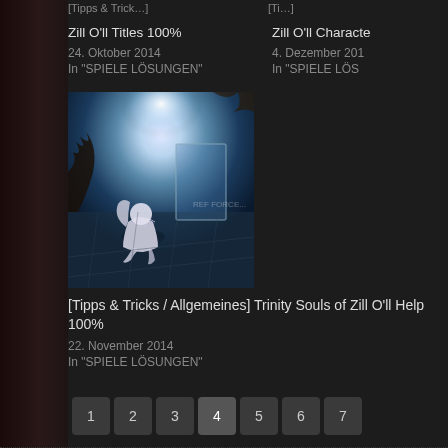Zill O'll Titles 100%
24. Oktober 2014
In "SPIELE LÖSUNGEN"
Zill O'll Characte...
4. Dezember 201...
In "SPIELE LÖS..."
[Figure (screenshot): Game screenshot from Trinity Souls of Zill O'll showing a character in armor in an underwater or mystical environment with bright light above]
[Tipps & Tricks / Allgemeines] Trinity Souls of Zill O'll Help 100%
22. November 2014
In "SPIELE LÖSUNGEN"
1
2
3
4
5
6
7